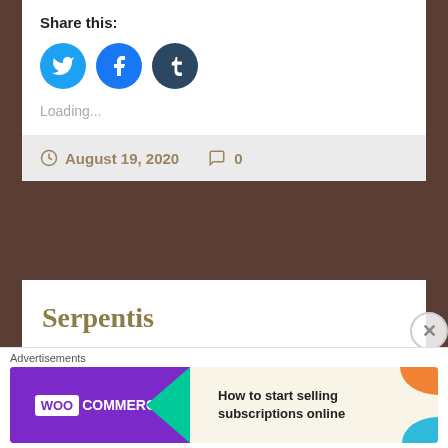Share this:
[Figure (other): Social sharing icons: Twitter (cyan circle), Facebook (blue circle), Tumblr (dark blue circle)]
Loading...
August 19, 2020   0
Serpentis
[Figure (photo): Partial view of an image below the Serpentis card, showing a dark circular shape against a brownish textured background]
Advertisements
[Figure (other): WooCommerce advertisement banner: How to start selling subscriptions online]